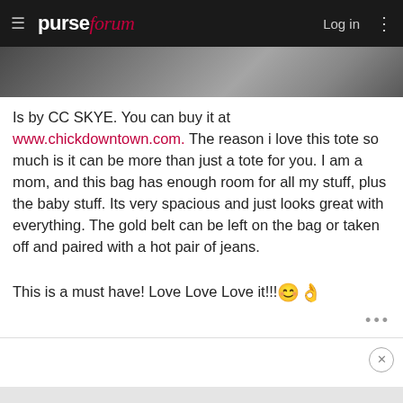purseforum — Log in
[Figure (photo): Partial image strip visible at top of content, appears to be a handbag photo cropped]
Is by CC SKYE. You can buy it at www.chickdowntown.com. The reason i love this tote so much is it can be more than just a tote for you. I am a mom, and this bag has enough room for all my stuff, plus the baby stuff. Its very spacious and just looks great with everything. The gold belt can be left on the bag or taken off and paired with a hot pair of jeans.

This is a must have! Love Love Love it!!!